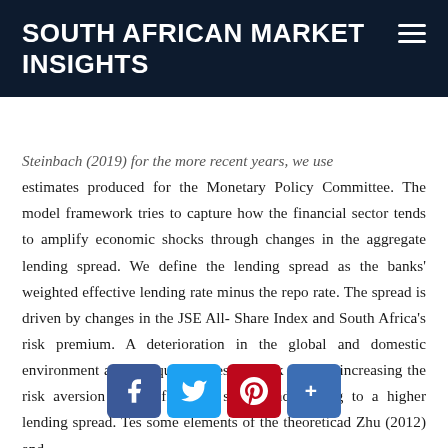SOUTH AFRICAN MARKET INSIGHTS
Steinbach (2019) for the more recent years, we use estimates produced for the Monetary Policy Committee. The model framework tries to capture how the financial sector tends to amplify economic shocks through changes in the aggregate lending spread. We define the lending spread as the banks' weighted effective lending rate minus the repo rate. The spread is driven by changes in the JSE All-Share Index and South Africa's risk premium. A deterioration in the global and domestic environment affects equity prices and risk premia, increasing the risk aversion of the financial sector and leading to a higher lending spread. This approach captures some elements of the theoretical work by Bernanke and Zhu (2012) and